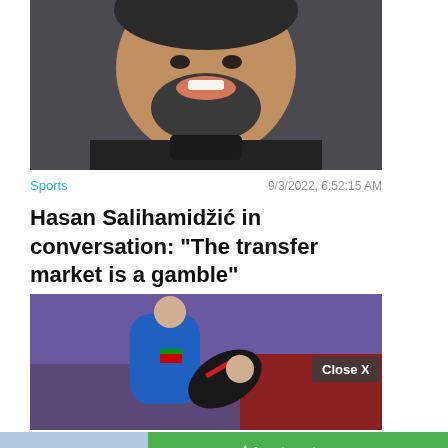[Figure (photo): Close-up photo of a smiling bearded man (Hasan Salihamidzic) in a dark jacket.]
Sports   9/3/2022, 6:52:15 AM
Hasan Salihamdžić in conversation: "The transfer market is a gamble"
[Figure (photo): Photo of two people in martial arts / judo competition, one in blue uniform throwing the other in black.]
[Figure (photo): Advertisement banner showing a street scene with apartment buildings. Apartments.com logo with Search Now button.]